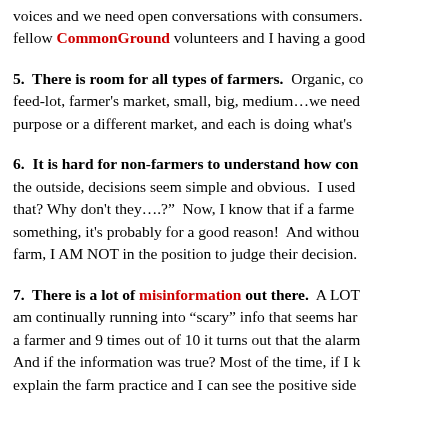voices and we need open conversations with consumers. fellow CommonGround volunteers and I having a good
5.  There is room for all types of farmers.  Organic, co feed-lot, farmer's market, small, big, medium…we need purpose or a different market, and each is doing what's
6.  It is hard for non-farmers to understand how con the outside, decisions seem simple and obvious.  I used that? Why don't they….?"  Now, I know that if a farme something, it's probably for a good reason!  And withou farm, I AM NOT in the position to judge their decision.
7.  There is a lot of misinformation out there.  A LOT am continually running into "scary" info that seems har a farmer and 9 times out of 10 it turns out that the alarm And if the information was true? Most of the time, if I k explain the farm practice and I can see the positive side